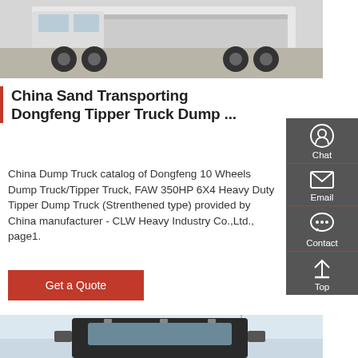[Figure (photo): Side view of a heavy-duty dump truck chassis parked on pavement, showing wheels and undercarriage]
China Sand Transporting Dongfeng Tipper Truck Dump ...
China Dump Truck catalog of Dongfeng 10 Wheels Dump Truck/Tipper Truck, FAW 350HP 6X4 Heavy Duty Tipper Dump Truck (Strenthened type) provided by China manufacturer - CLW Heavy Industry Co.,Ltd., page1.
Get a Quote
[Figure (photo): Front view of a heavy-duty truck cab, showing the windshield and front grille]